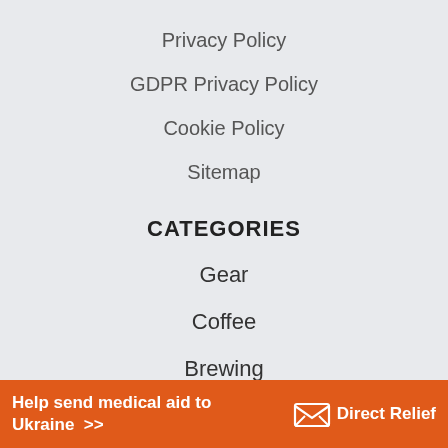Privacy Policy
GDPR Privacy Policy
Cookie Policy
Sitemap
CATEGORIES
Gear
Coffee
Brewing
Coffee Facts
[Figure (infographic): Orange banner advertisement for Direct Relief charity: 'Help send medical aid to Ukraine >>' with Direct Relief logo (envelope/box icon) on the right]